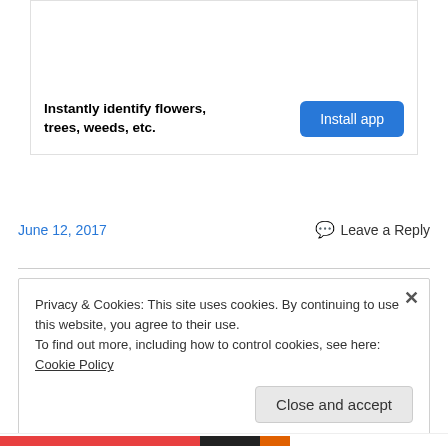[Figure (other): Advertisement banner area at top of page]
Instantly identify flowers, trees, weeds, etc.
Install app
June 12, 2017
Leave a Reply
Privacy & Cookies: This site uses cookies. By continuing to use this website, you agree to their use.
To find out more, including how to control cookies, see here: Cookie Policy
Close and accept